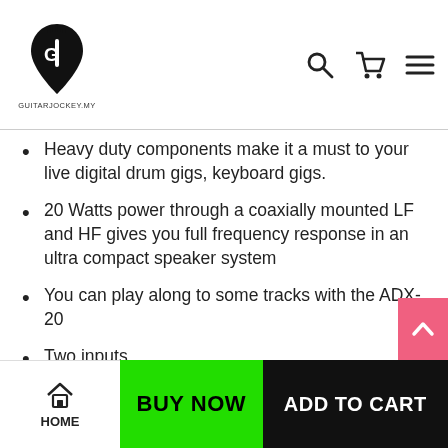GuitarJockey.my logo with navigation icons (search, cart, menu)
Heavy duty components make it a must to your live digital drum gigs, keyboard gigs.
20 Watts power through a coaxially mounted LF and HF gives you full frequency response in an ultra compact speaker system
You can play along to some tracks with the ADX-20
Two inputs.
Can be used for any digital drums and keyboards.
HOME | BUY NOW | ADD TO CART